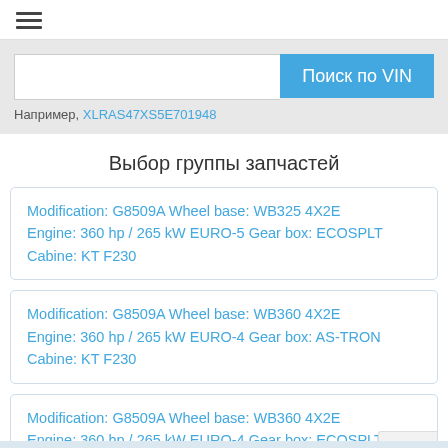[Figure (other): Hamburger menu icon (three horizontal lines)]
Поиск по VIN (search button)
Например, XLRAS47XS5E701948
Выбор группы запчастей
Modification: G8509A Wheel base: WB325 4X2E Engine: 360 hp / 265 kW EURO-5 Gear box: ECOSPLT Cabine: KT F230
Modification: G8509A Wheel base: WB360 4X2E Engine: 360 hp / 265 kW EURO-4 Gear box: AS-TRON Cabine: KT F230
Modification: G8509A Wheel base: WB360 4X2E Engine: 360 hp / 265 kW EURO-4 Gear box: ECOSPLT Cabine: KT F230